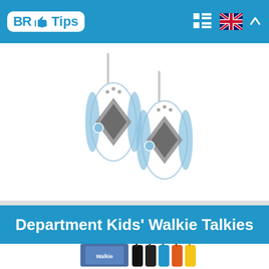BR Tips
[Figure (photo): Two white and blue kids walkie talkies with antennas extended]
Department Kids' Walkie Talkies
[Figure (photo): Box of kids walkie talkies set with multiple colorful units visible]